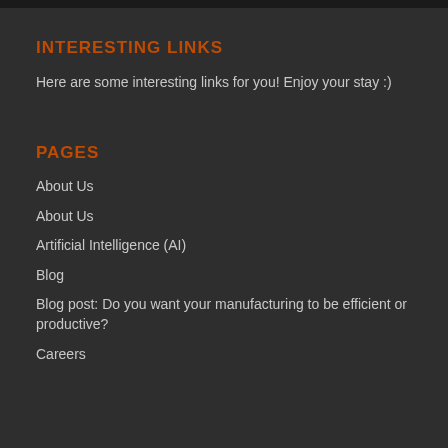INTERESTING LINKS
Here are some interesting links for you! Enjoy your stay :)
PAGES
About Us
About Us
Artificial Intelligence (AI)
Blog
Blog post: Do you want your manufacturing to be efficient or productive?
Careers